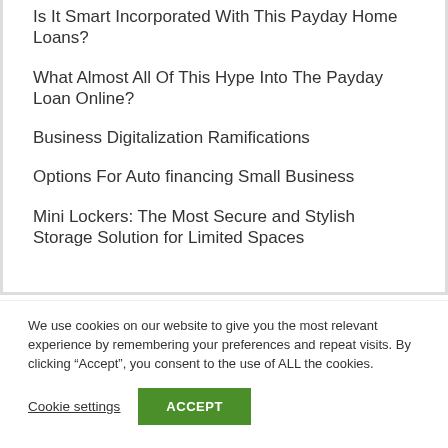Is It Smart Incorporated With This Payday Home Loans?
What Almost All Of This Hype Into The Payday Loan Online?
Business Digitalization Ramifications
Options For Auto financing Small Business
Mini Lockers: The Most Secure and Stylish Storage Solution for Limited Spaces
We use cookies on our website to give you the most relevant experience by remembering your preferences and repeat visits. By clicking “Accept”, you consent to the use of ALL the cookies.
Cookie settings   ACCEPT